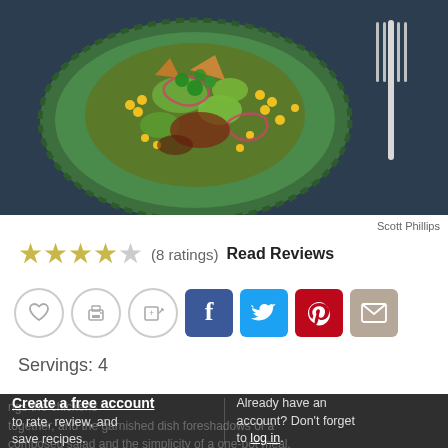[Figure (photo): Overhead photo of a Mexican-style salad with avocado, corn, red onion, cilantro, and tortilla chips on a green ribbed plate, with a fork on dark blue linen background.]
Scott Phillips
★★★★☆ (8 ratings)  Read Reviews
[Figure (infographic): Row of action icons: heart/save, print, add to recipe box, Facebook share, Twitter share, Pinterest share, email share]
Servings: 4
Create a free account to rate, review, and save recipes. | Already have an account? Don't forget to log in.